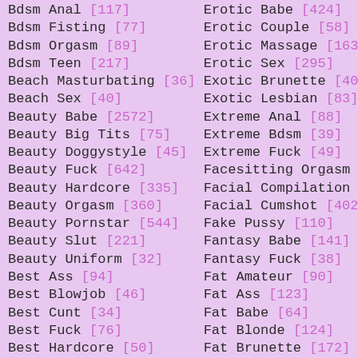Bdsm Anal [117]
Bdsm Fisting [77]
Bdsm Orgasm [89]
Bdsm Teen [217]
Beach Masturbating [36]
Beach Sex [40]
Beauty Babe [2572]
Beauty Big Tits [75]
Beauty Doggystyle [45]
Beauty Fuck [642]
Beauty Hardcore [335]
Beauty Orgasm [360]
Beauty Pornstar [544]
Beauty Slut [221]
Beauty Uniform [32]
Best Ass [94]
Best Blowjob [46]
Best Cunt [34]
Best Fuck [76]
Best Hardcore [50]
Erotic Babe [424]
Erotic Couple [58]
Erotic Massage [163]
Erotic Sex [295]
Exotic Brunette [40]
Exotic Lesbian [83]
Extreme Anal [88]
Extreme Bdsm [39]
Extreme Fuck [49]
Facesitting Orgasm
Facial Compilation
Facial Cumshot [402]
Fake Pussy [110]
Fantasy Babe [141]
Fantasy Fuck [38]
Fat Amateur [90]
Fat Ass [123]
Fat Babe [64]
Fat Blonde [124]
Fat Brunette [172]